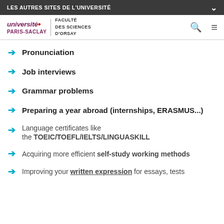LES AUTRES SITES DE L'UNIVERSITÉ
[Figure (logo): Université Paris-Saclay logo with Faculté des Sciences d'Orsay text]
Pronunciation
Job interviews
Grammar problems
Preparing a year abroad (internships, ERASMUS...)
Language certificates like the TOEIC/TOEFL/IELTS/LINGUASKILL
Acquiring more efficient self-study working methods
Improving your written expression for essays, tests